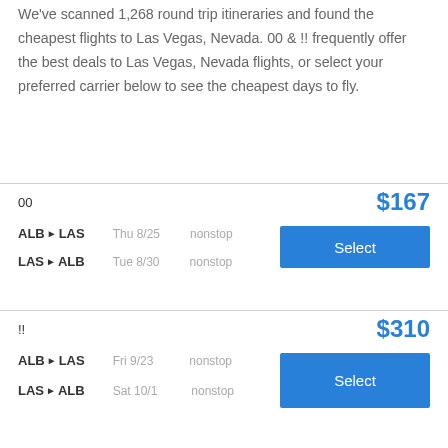We've scanned 1,268 round trip itineraries and found the cheapest flights to Las Vegas, Nevada. 00 & !! frequently offer the best deals to Las Vegas, Nevada flights, or select your preferred carrier below to see the cheapest days to fly.
00
ALB▶LAS  Thu 8/25  nonstop
LAS▶ALB  Tue 8/30  nonstop
$167
Select
!!
ALB▶LAS  Fri 9/23  nonstop
LAS▶ALB  Sat 10/1  nonstop
$310
Select